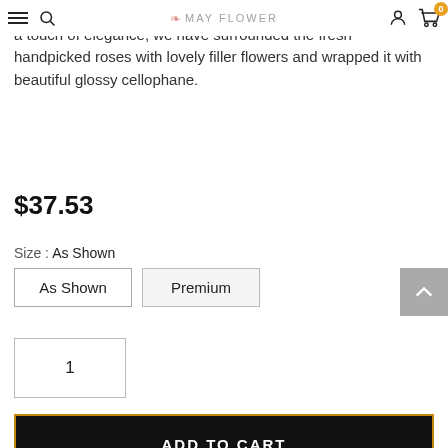MAY FLOWER — navigation bar with hamburger, search, logo, user, cart (0)
has been captured in this lovely creation. To give this bouquet a touch of elegance, we have surrounded the fresh handpicked roses with lovely filler flowers and wrapped it with beautiful glossy cellophane.
$37.53
Size : As Shown
As Shown
Premium
1
ADD TO CART